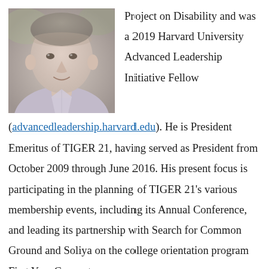[Figure (photo): Headshot of a middle-aged man with short gray-brown hair, wearing a light lavender/pink collared shirt, smiling, photographed outdoors.]
Project on Disability and was a 2019 Harvard University Advanced Leadership Initiative Fellow (advancedleadership.harvard.edu). He is President Emeritus of TIGER 21, having served as President from October 2009 through June 2016. His present focus is participating in the planning of TIGER 21's various membership events, including its Annual Conference, and leading its partnership with Search for Common Ground and Soliya on the college orientation program First Year Connect.